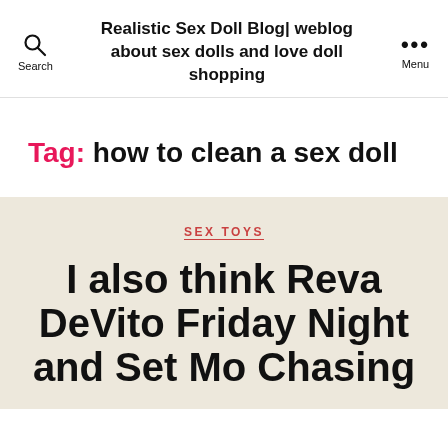Realistic Sex Doll Blog| weblog about sex dolls and love doll shopping
Tag: how to clean a sex doll
SEX TOYS
I also think Reva DeVito Friday Night and Set Mo Chasing